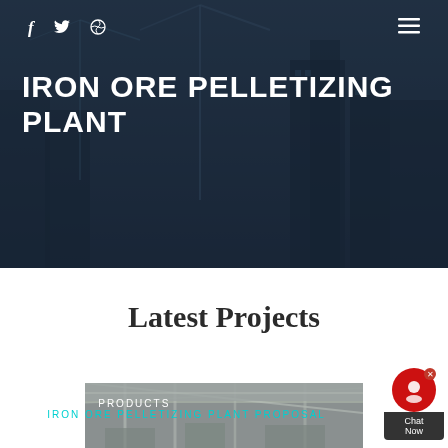f  🐦  ⊕   ≡
IRON ORE PELLETIZING PLANT
HOME  //  PRODUCTS  //  IRON ORE PELLETIZING PLANT PROPOSAL
Latest Projects
[Figure (photo): Industrial interior construction site photo showing steel structure and scaffolding]